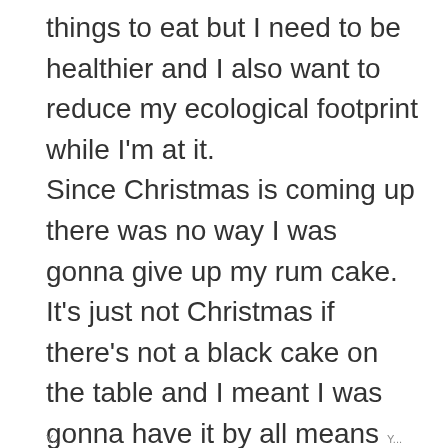things to eat but I need to be healthier and I also want to reduce my ecological footprint while I'm at it. Since Christmas is coming up there was no way I was gonna give up my rum cake. It's just not Christmas if there's not a black cake on the table and I meant I was gonna have it by all means necessary.
Y... Y...